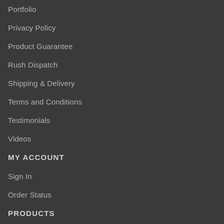Portfolio
Privacy Policy
Product Guarantee
Rush Dispatch
Shipping & Delivery
Terms and Conditions
Testimonials
Videos
MY ACCOUNT
Sign In
Order Status
PRODUCTS